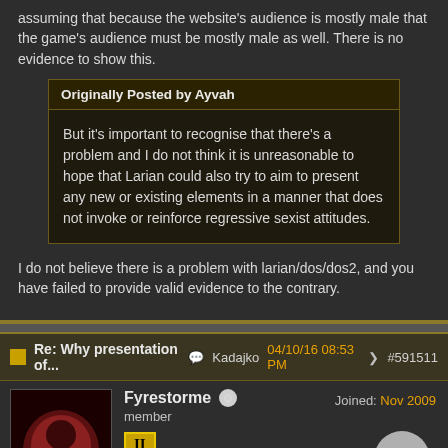assuming that because the website's audience is mostly male that the game's audience must be mostly male as well. There is no evidence to show this.
Originally Posted by Ayvah
But it's important to recognise that there's a problem and I do not think it is unreasonable to hope that Larian could also try to aim to present any new or existing elements in a manner that does not invoke or reinforce regressive sexist attitudes.
I do not believe there is a problem with larian/dos/dos2, and you have failed to provide valid evidence to the contrary.
Re: Why presentation of... Kadajko 04/10/16 08:53 PM #591511
Fyrestorme member Joined: Nov 2009
Originally Posted by Kadajko